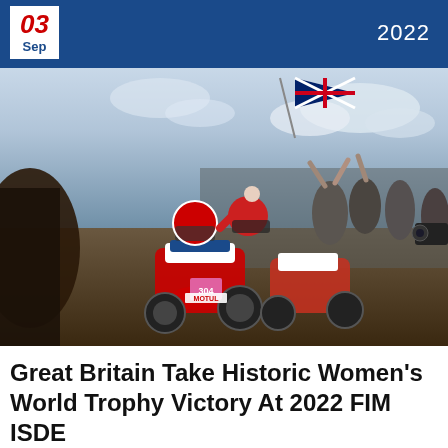03 Sep  2022
[Figure (photo): Group of motocross riders in red, white and blue GB kit celebrating with their dirt bikes, one person waving a Union Jack flag, surrounded by cheering crowd, outdoors at a racing event.]
Great Britain Take Historic Women's World Trophy Victory At 2022 FIM ISDE